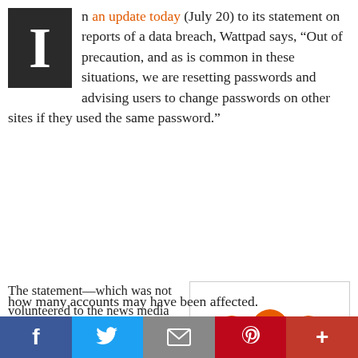In an update today (July 20) to its statement on reports of a data breach, Wattpad says, “Out of precaution, and as is common in these situations, we are resetting passwords and advising users to change passwords on other sites if they used the same password.”
The statement—which was not volunteered to the news media but was readily provided at Publishing Perspectives’ request—does not fully confirm the episode, nor does it put a number on how many accounts may have been affected.
[Figure (logo): Wattpad logo: orange stylized 'w' above orange text 'wattpad' on white background with light grey border]
[Figure (infographic): Social sharing bar with Facebook (blue), Twitter (light blue), email (grey), Pinterest (red), and plus/more (dark red) icons]